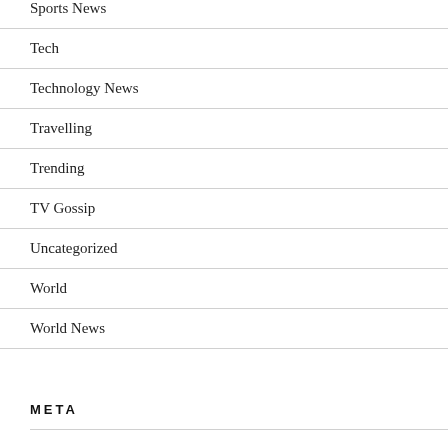Sports News
Tech
Technology News
Travelling
Trending
TV Gossip
Uncategorized
World
World News
META